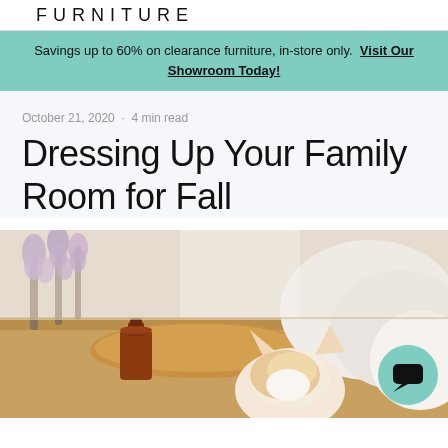FURNITURE
Savings up to 60% on clearance furniture, in-store only. Visit Our Showroom Today!
October 21, 2020  ·  4 min read
Dressing Up Your Family Room for Fall
[Figure (photo): Photo of a cozy fall scene with lavender flowers, a wooden tray, a brown glass bottle, and a cat in the background, with a teal chat button overlay]